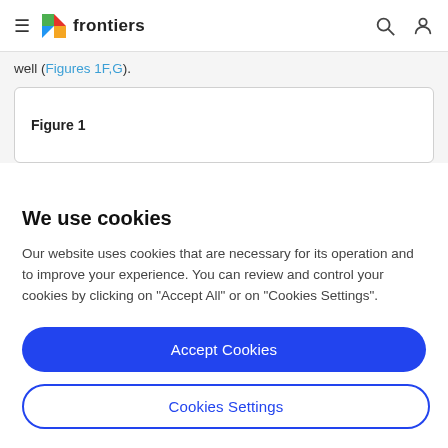frontiers
well (Figures 1F,G).
Figure 1
We use cookies
Our website uses cookies that are necessary for its operation and to improve your experience. You can review and control your cookies by clicking on "Accept All" or on "Cookies Settings".
Accept Cookies
Cookies Settings